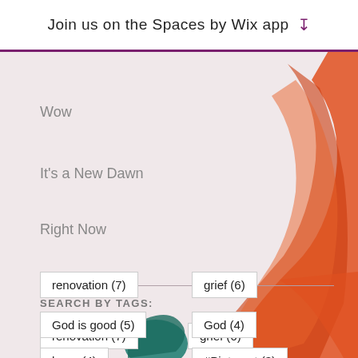Join us on the Spaces by Wix app ↓
Wow
It's a New Dawn
Right Now
SEARCH BY TAGS:
renovation (7)
grief (6)
God is good (5)
God (4)
hope (4)
#Pinterest (3)
cancer (3)
death (3)
grace (3)
dad (2)